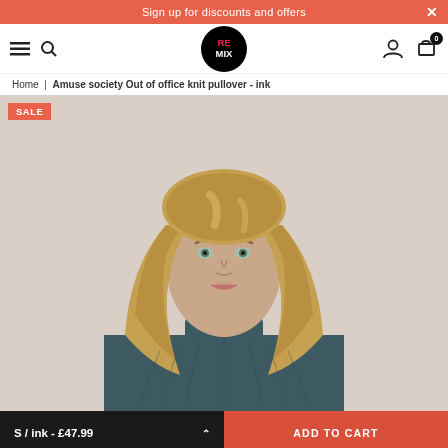Sign up for discounts and offers
[Figure (screenshot): Remix store navigation bar with hamburger menu, search icon, Remix logo (black circle with RE/MIX text), user icon, and shopping cart icon with badge showing 0]
Home | Amuse society Out of office knit pullover - ink
[Figure (photo): Product photo of a female model with long blonde highlighted hair wearing a teal/ink colored knit pullover against a light beige background. A red SALE badge appears in the top left corner.]
S / ink - £47.99
ADD TO CART